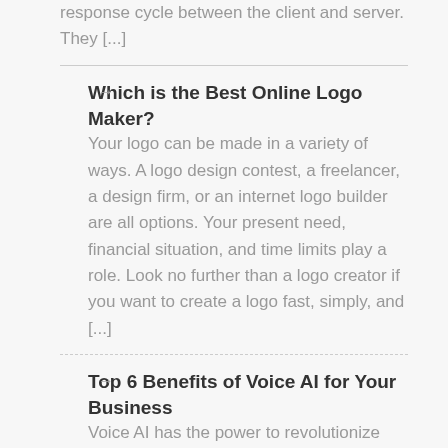response cycle between the client and server. They [...]
Which is the Best Online Logo Maker?
Your logo can be made in a variety of ways. A logo design contest, a freelancer, a design firm, or an internet logo builder are all options. Your present need, financial situation, and time limits play a role. Look no further than a logo creator if you want to create a logo fast, simply, and [...]
Top 6 Benefits of Voice AI for Your Business
Voice AI has the power to revolutionize your business if you